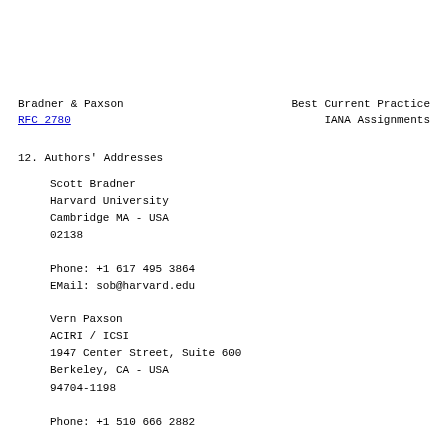Bradner & Paxson          Best Current Practice
RFC 2780                  IANA Assignments
12. Authors' Addresses
Scott Bradner
Harvard University
Cambridge MA - USA
02138

Phone: +1 617 495 3864
EMail: sob@harvard.edu
Vern Paxson
ACIRI / ICSI
1947 Center Street, Suite 600
Berkeley, CA - USA
94704-1198

Phone: +1 510 666 2882